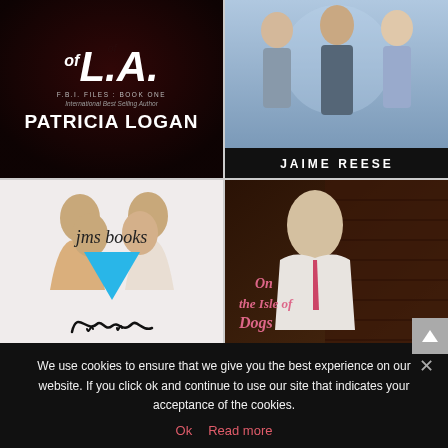[Figure (illustration): Book cover: 'L.A.' by Patricia Logan, F.B.I. Files Book One, dark red/black background, bold white text]
[Figure (illustration): Book cover: by Jaime Reese, blue background with three male figures]
[Figure (illustration): Book cover: JMS Books logo, two men about to kiss on white/light background with cyan triangle logo and cursive script]
[Figure (illustration): Book cover: 'On the Isle of Dogs', young man in white suit against brick background, pink stylized title text]
We use cookies to ensure that we give you the best experience on our website. If you click ok and continue to use our site that indicates your acceptance of the cookies.
Ok  Read more